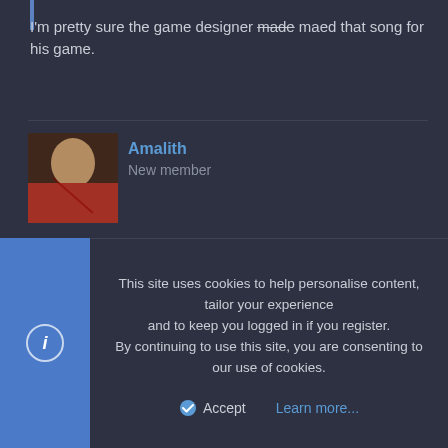I'm pretty sure the game designer made maed that song for his game.
[Figure (photo): User avatar for Amalith, showing a fantasy character illustration with red dress]
Amalith
New member
Mar 5, 2010   #9
It's an Xbox live arcade game that is on one the top purchased lists, despite looking like a very crappy game. Granted, it's only like $2 I think.
[Figure (illustration): User avatar for Jojo1378, showing cartoon pink and green characters]
Jojo1378
New member
This site uses cookies to help personalise content, tailor your experience and to keep you logged in if you register.
By continuing to use this site, you are consenting to our use of cookies.
Accept   Learn more...